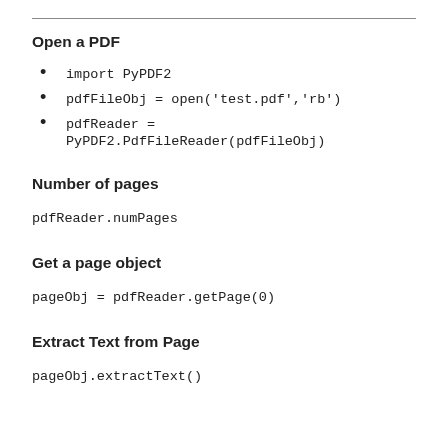Open a PDF
import PyPDF2
pdfFileObj = open('test.pdf','rb')
pdfReader = PyPDF2.PdfFileReader(pdfFileObj)
Number of pages
pdfReader.numPages
Get a page object
pageObj = pdfReader.getPage(0)
Extract Text from Page
pageObj.extractText()